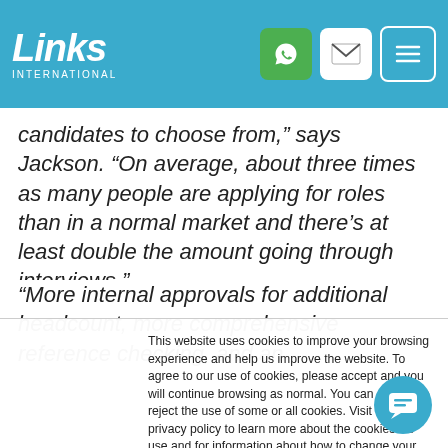Links International — header with logo and navigation icons
candidates to choose from," says Jackson. "On average, about three times as many people are applying for roles than in a normal market and there's at least double the amount going through interviews."
"More internal approvals for additional headcount, more comprehensive reference checking, and an
This website uses cookies to improve your browsing experience and help us improve the website. To agree to our use of cookies, please accept and you will continue browsing as normal. You can choose to reject the use of some or all cookies. Visit our privacy policy to learn more about the cookies we use and for information about how to change your preferences. Find out more.